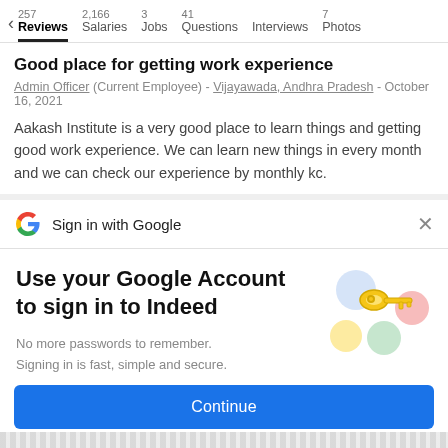257 Reviews  2,166 Salaries  3 Jobs  41 Questions  Interviews  7 Photos
Good place for getting work experience
Admin Officer (Current Employee) - Vijayawada, Andhra Pradesh - October 16, 2021
Aakash Institute is a very good place to learn things and getting good work experience. We can learn new things in every month and we can check our experience by monthly kc.
Sign in with Google
Use your Google Account to sign in to Indeed
No more passwords to remember. Signing in is fast, simple and secure.
Continue